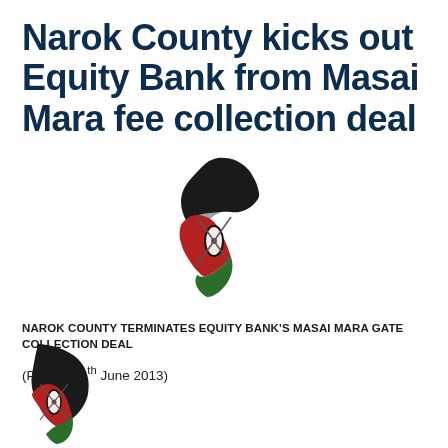Narok County kicks out Equity Bank from Masai Mara fee collection deal
[Figure (logo): Kenya map outline with the Kenyan flag colors — black top stripe, red middle stripe with white borders and Maasai shield motif, green bottom section.]
NAROK COUNTY TERMINATES EQUITY BANK'S MASAI MARA GATE COLLECTION DEAL
(Posted 26th June 2013)
[Figure (logo): Kenya map outline with the Kenyan flag colors — partial view, bottom portion of page.]